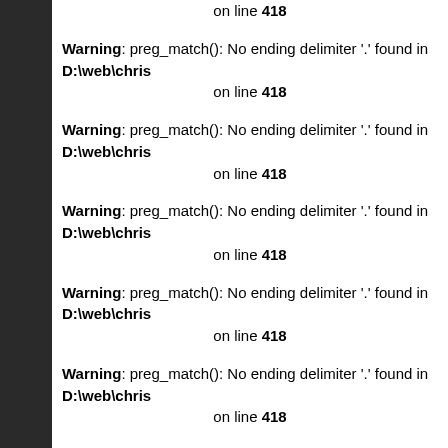on line 418
Warning: preg_match(): No ending delimiter '.' found in D:\web\chris on line 418
Warning: preg_match(): No ending delimiter '.' found in D:\web\chris on line 418
Warning: preg_match(): No ending delimiter '.' found in D:\web\chris on line 418
Warning: preg_match(): No ending delimiter '.' found in D:\web\chris on line 418
Warning: preg_match(): No ending delimiter '.' found in D:\web\chris on line 418
Warning: preg_match(): No ending delimiter '.' found in D:\web\chris on line 418
Warning: preg_match(): No ending delimiter '.' found in D:\web\chris on line 418
Warning: preg_match(): No ending delimiter '.' found in D:\web\chris on line 418
Warning: preg_match(): No ending delimiter '.' found in D:\web\chris on line 418
Warning: preg_match(): No ending delimiter '.' found in D:\web\chris on line 418